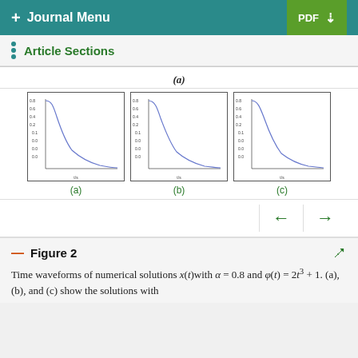+ Journal Menu   PDF ↓
Article Sections
(a)
[Figure (continuous-plot): Time waveform plot (a): decaying curve from high value near y-axis down toward zero, x-axis labeled with time values, y-axis with amplitude values]
[Figure (continuous-plot): Time waveform plot (b): decaying curve similar to (a), slightly different decay rate]
[Figure (continuous-plot): Time waveform plot (c): decaying curve similar to (a) and (b)]
(a)   (b)   (c)
Figure 2
Time waveforms of numerical solutions x(t) with α = 0.8 and φ(t) = 2t³ + 1. (a), (b), and (c) show the solutions with